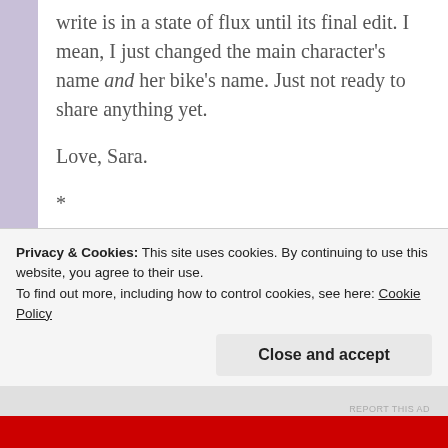write is in a state of flux until its final edit. I mean, I just changed the main character's name and her bike's name. Just not ready to share anything yet.
Love, Sara.
*
Dear AOL Instant Messenger,
REPORT THIS AD
Privacy & Cookies: This site uses cookies. By continuing to use this website, you agree to their use.
To find out more, including how to control cookies, see here: Cookie Policy
Close and accept